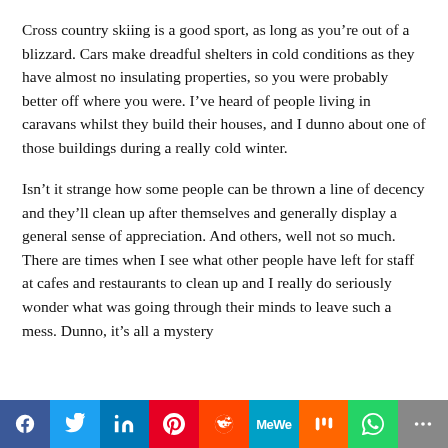Cross country skiing is a good sport, as long as you're out of a blizzard. Cars make dreadful shelters in cold conditions as they have almost no insulating properties, so you were probably better off where you were. I've heard of people living in caravans whilst they build their houses, and I dunno about one of those buildings during a really cold winter.
Isn't it strange how some people can be thrown a line of decency and they'll clean up after themselves and generally display a general sense of appreciation. And others, well not so much. There are times when I see what other people have left for staff at cafes and restaurants to clean up and I really do seriously wonder what was going through their minds to leave such a mess. Dunno, it's all a mystery
[Figure (other): Social sharing bar with icons: Facebook (blue), Twitter (light blue), LinkedIn (dark blue), Pinterest (red), Reddit (orange-red), MeWe (teal), Mix (orange), WhatsApp (green), More (gray)]